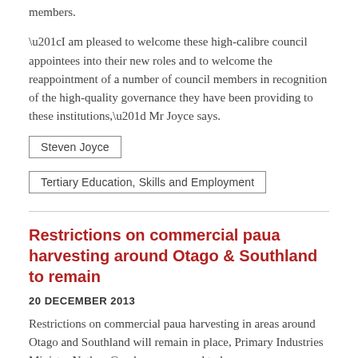members.
“I am pleased to welcome these high-calibre council appointees into their new roles and to welcome the reappointment of a number of council members in recognition of the high-quality governance they have been providing to these institutions,” Mr Joyce says.
Steven Joyce
Tertiary Education, Skills and Employment
Restrictions on commercial paua harvesting around Otago & Southland to remain
20 DECEMBER 2013
Restrictions on commercial paua harvesting in areas around Otago and Southland will remain in place, Primary Industries Minister Nathan Guy has announced today.